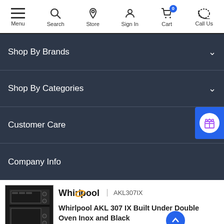Menu | Search | Store | Sign In | Cart (0) | Call Us
Shop By Brands
Shop By Categories
Customer Care
Company Info
[Figure (screenshot): Whirlpool double oven product thumbnail - black appliance]
Whirlpool | AKL307IX
Whirlpool AKL 307 IX Built Under Double Oven Inox and Black
£514.87
Add to Basket